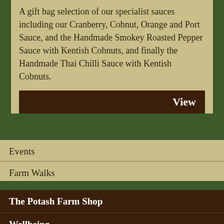A gift bag selection of our specialist sauces including our Cranberry, Cobnut, Orange and Port Sauce, and the Handmade Smokey Roasted Pepper Sauce with Kentish Cobnuts, and finally the Handmade Thai Chilli Sauce with Kentish Cobnuts.
View
Events
Farm Walks
The Potash Farm Shop
Wellbeing
Kentish Cobnuts